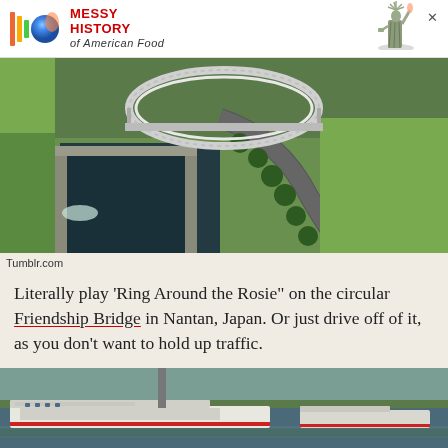[Figure (infographic): Advertisement banner: colorful logo with vertical bars and sphere, red bold text 'MESSY HISTORY of American Food', Statue of Liberty graphic, close X button]
[Figure (photo): Aerial view of the circular Friendship Bridge in Nantan, Japan, showing a round loop bridge structure over a canal/lock area with green fields and trees]
Tumblr.com
Literally play 'Ring Around the Rosie" on the circular Friendship Bridge in Nantan, Japan. Or just drive off of it, as you don't want to hold up traffic.
[Figure (photo): Aerial view of a large river with cruise/passenger ships navigating a waterway, green fields on either side]